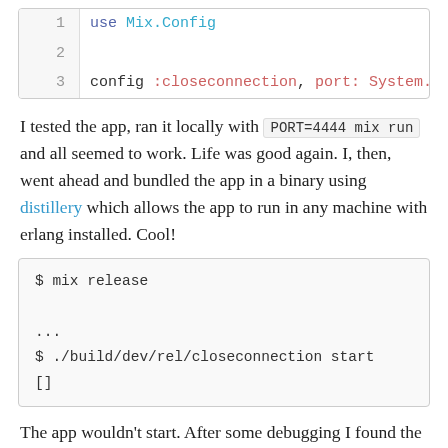[Figure (screenshot): Code block showing Elixir config file lines 1-3: 'use Mix.Config' and 'config :closeconnection, port: System.g']
I tested the app, ran it locally with PORT=4444 mix run and all seemed to work. Life was good again. I, then, went ahead and bundled the app in a binary using distillery which allows the app to run in any machine with erlang installed. Cool!
[Figure (screenshot): Shell code block showing: $ mix release ... $ ./build/dev/rel/closeconnection start []]
The app wouldn't start. After some debugging I found the PORT was nil. But why!? That's when remembering that Elixir is a compiled language comes in handy. My app